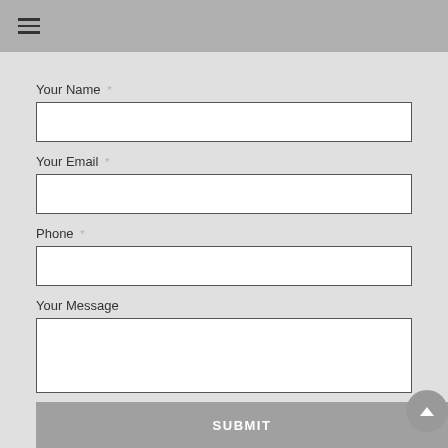≡
Your Name *
Your Email *
Phone *
Your Message
SUBMIT